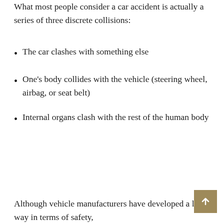What most people consider a car accident is actually a series of three discrete collisions:
The car clashes with something else
One's body collides with the vehicle (steering wheel, airbag, or seat belt)
Internal organs clash with the rest of the human body
Although vehicle manufacturers have developed a long way in terms of safety,